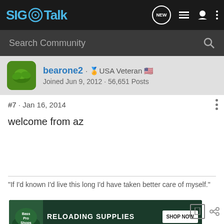SIG Talk
Search Community
bearone2 · USA Veteran
Joined Jun 9, 2012 · 56,651 Posts
#7 · Jan 16, 2014
welcome from az
"If I'd known I'd live this long I'd have taken better care of myself."
[Figure (screenshot): Bass Pro Shops Reloading Supplies advertisement banner with Shop Now button]